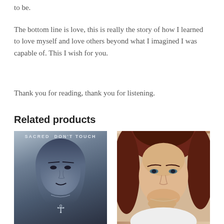to be.
The bottom line is love, this is really the story of how I learned to love myself and love others beyond what I imagined I was capable of. This I wish for you.
Thank you for reading, thank you for listening.
Related products
[Figure (photo): Black and white/blue-tinted album cover image of a woman dressed in Egyptian-style costume with headdress and ankh necklace. Text at top reads 'SACRED DON'T TOUCH']
[Figure (photo): Color portrait photograph of a woman with auburn/red hair wearing a white top, resting her chin on her hand]